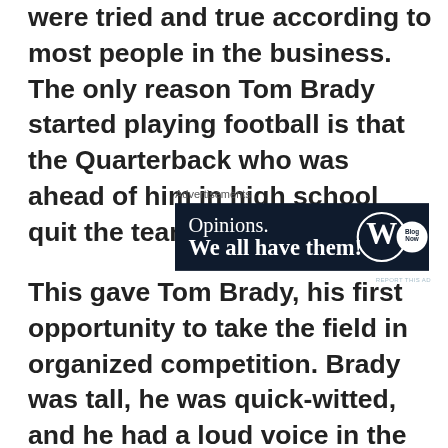were tried and true according to most people in the business. The only reason Tom Brady started playing football is that the Quarterback who was ahead of him in high school quit the team.
[Figure (other): Advertisement banner for WordPress/Opinions. Dark navy background with text 'Opinions. We all have them!' and WordPress logo circle and another circular logo.]
This gave Tom Brady, his first opportunity to take the field in organized competition. Brady was tall, he was quick-witted, and he had a loud voice in the huddle. He was also very slow on his feet compared to some college prospects, didn't often leave the pocket even under pressure, and his